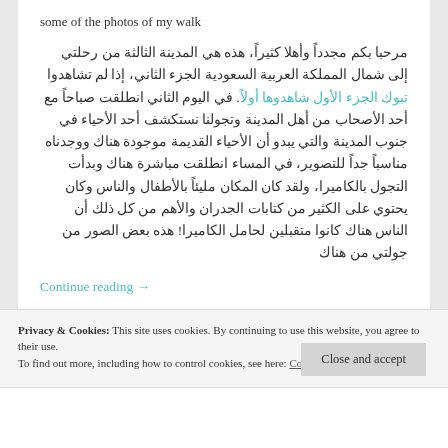some of the photos of my walk
مرحبا بكم مجدداً وأهلا كثيراً، هذه هي المدينة الثالثة من رحلتي إلى شمال المملكة العربية السعودية الجزء الثاني، إذا لم تشاهدوا تبوك الجزء الأول شاهدوها أولاً. في اليوم الثاني انطلقت صباحاً مع أحد الأصحاب من أهل المدينة وتجولنا نستكشف أحد الأحياء في جنوب المدينة والتي يبدو أن الأحياء القديمة موجودة هناك ووجدناه مناسباً جداً للتصوير، في المساء انطلقت مباشرة هناك وبدأت التجول بالكاميرا، ولقد كان المكان مليئاً بالأطفال والناس وكان يحتوي على الكثير من كتابات الجدران والأهم من كل ذلك أن الناس هناك كانوا متقبلين لحامل الكاميرا! هذه بعض الصور من جولتي من هناك
Continue reading →
Privacy & Cookies: This site uses cookies. By continuing to use this website, you agree to their use. To find out more, including how to control cookies, see here: Cookie Policy
Close and accept